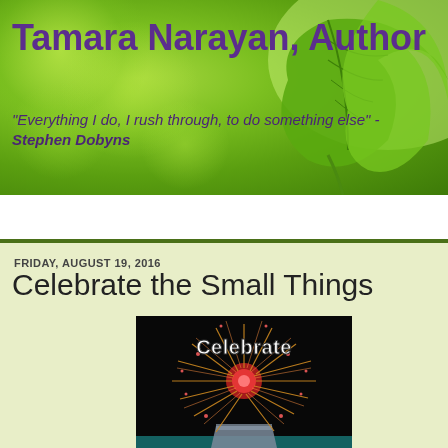Tamara Narayan, Author
"Everything I do, I rush through, to do something else" - Stephen Dobyns
[Figure (screenshot): Green bokeh nature background with leaf on right side]
Home
FRIDAY, AUGUST 19, 2016
Celebrate the Small Things
[Figure (photo): Dark background with red fireworks and white text 'Celebrate' overlaid]